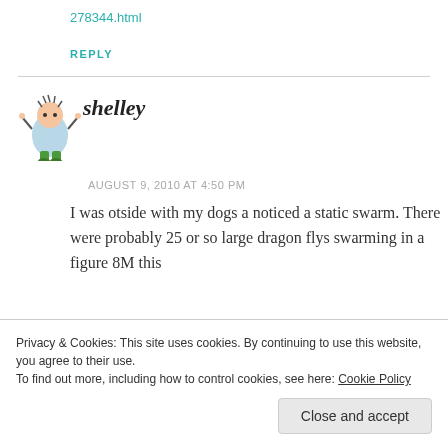278344.html
REPLY
[Figure (illustration): Cartoon avatar of a small character in a light blue dress with green pants and spiky hair, arms raised]
shelley
AUGUST 9, 2010 AT 4:50 PM
I was otside with my dogs a noticed a static swarm. There were probably 25 or so large dragon flys swarming in a figure 8M this
Privacy & Cookies: This site uses cookies. By continuing to use this website, you agree to their use.
To find out more, including how to control cookies, see here: Cookie Policy
Close and accept